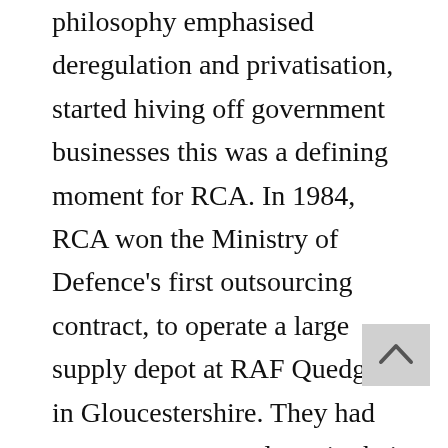philosophy emphasised deregulation and privatisation, started hiving off government businesses this was a defining moment for RCA. In 1984, RCA won the Ministry of Defence's first outsourcing contract, to operate a large supply depot at RAF Quedgeley in Gloucestershire. They had never run a stores depot in their lives but that did not seem to matter as the RAF storekeepers, who transferred to the new company, knew how. Three years later senior staff led by chemist Richard White bought out the management from RCA and formed Serco, which they listed on the London Stock Exchange. With a new injection of capital they were